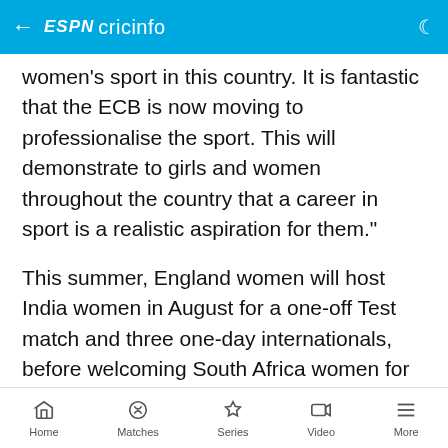ESPN cricinfo
women's sport in this country. It is fantastic that the ECB is now moving to professionalise the sport. This will demonstrate to girls and women throughout the country that a career in sport is a realistic aspiration for them."
This summer, England women will host India women in August for a one-off Test match and three one-day internationals, before welcoming South Africa women for a three-match Twenty20 International series at the start of September.
England Women's Contracts 2014-2015: Charlotte Edwards (captain), Tamsin Beaumont, Natasha
Home  Matches  Series  Video  More